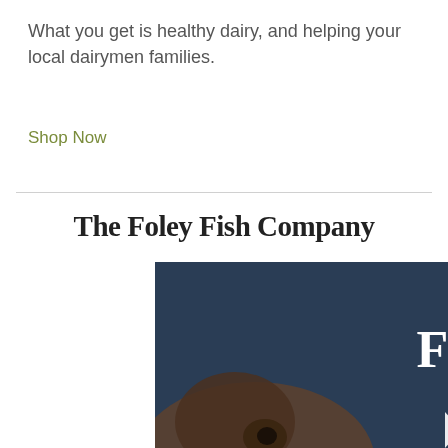What you get is healthy dairy, and helping your local dairymen families.
Shop Now
The Foley Fish Company
[Figure (photo): Photo of fish and seafood on ice with dark background, overlaid with the Foley Fish Company logo (a stylized fish illustration), and text reading 'FOLEY' at top, then 'LOVE FISH. LOVE FOLEY.' at bottom in white lettering.]